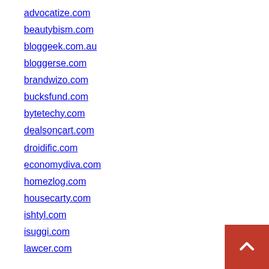advocatize.com
beautybism.com
bloggeek.com.au
bloggerse.com
brandwizo.com
bucksfund.com
bytetechy.com
dealsoncart.com
droidific.com
economydiva.com
homezlog.com
housecarty.com
ishtyl.com
isuggi.com
lawcer.com